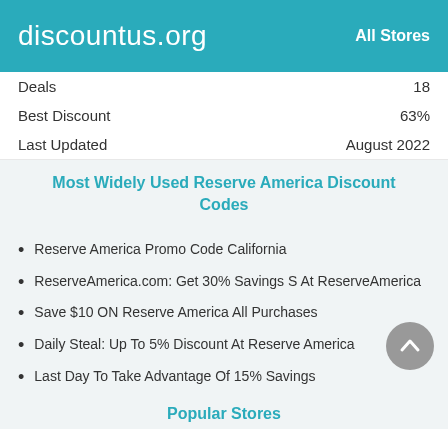discountus.org   All Stores
| Deals | 18 |
| Best Discount | 63% |
| Last Updated | August 2022 |
Most Widely Used Reserve America Discount Codes
Reserve America Promo Code California
ReserveAmerica.com: Get 30% Savings S At ReserveAmerica
Save $10 ON Reserve America All Purchases
Daily Steal: Up To 5% Discount At Reserve America
Last Day To Take Advantage Of 15% Savings
Popular Stores